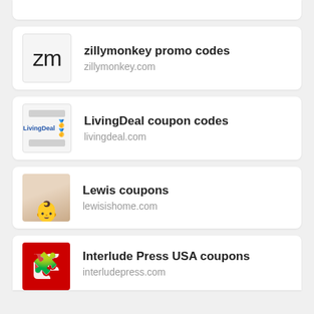[Figure (screenshot): Partial card at top of page (cut off)]
zillymonkey promo codes
zillymonkey.com
LivingDeal coupon codes
livingdeal.com
Lewis coupons
lewisishome.com
Interlude Press USA coupons
interludepress.com